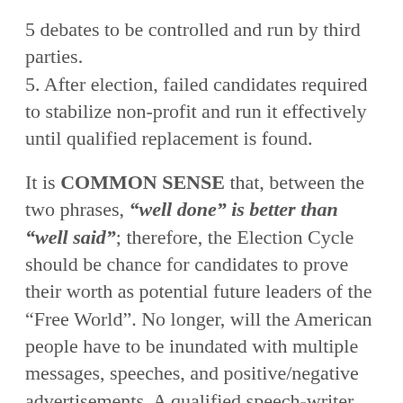5 debates to be controlled and run by third parties.
5. After election, failed candidates required to stabilize non-profit and run it effectively until qualified replacement is found.
It is COMMON SENSE that, between the two phrases, "well done" is better than "well said"; therefore, the Election Cycle should be chance for candidates to prove their worth as potential future leaders of the "Free World". No longer, will the American people have to be inundated with multiple messages, speeches, and positive/negative advertisements. A qualified speech-writer can make any Poor Dick appear like a Demi-God. However, if a candidate is placed at the head of an non-profit